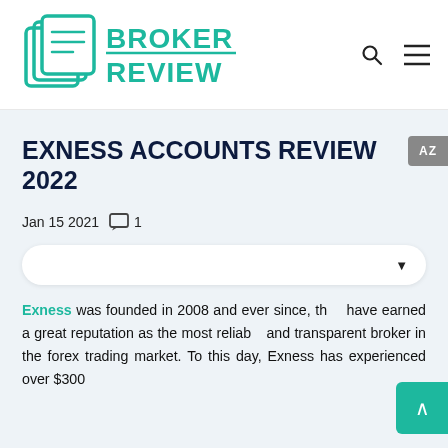[Figure (logo): Broker Review logo with teal/green stacked pages icon and bold teal text reading BROKER REVIEW]
BROKER REVIEW — navigation header with search icon and hamburger menu
EXNESS ACCOUNTS REVIEW 2022
Jan 15 2021  □ 1
Exness was founded in 2008 and ever since, they have earned a great reputation as the most reliable and transparent broker in the forex trading market. To this day, Exness has experienced over $300